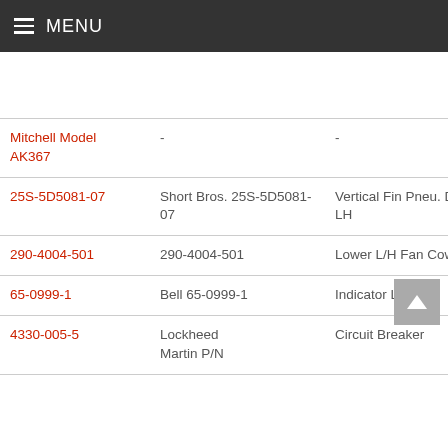MENU
| Part Number | Manufacturer P/N | Description | Applicability |
| --- | --- | --- | --- |
|  |  |  | DC9-83(M MD88) |
| Mitchell Model AK367 | - | - | Cessna (3... |
| 25S-5D5081-07 | Short Bros. 25S-5D5081-07 | Vertical Fin Pneu. De-Icer, LH | Short Bro... |
| 290-4004-501 | 290-4004-501 | Lower L/H Fan Cowl Assy | McDonne... |
| 65-0999-1 | Bell 65-0999-1 | Indicator Light | Bell (222... |
| 4330-005-5 | Lockheed Martin P/N | Circuit Breaker | Lockheed 385-1-14 |